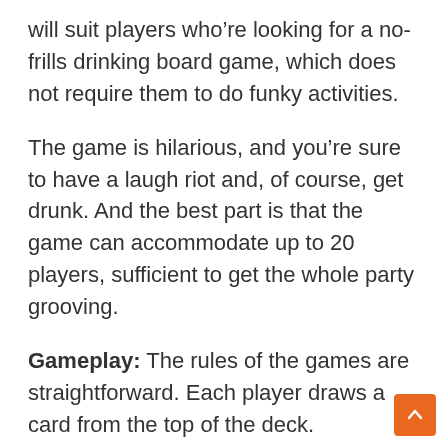will suit players who're looking for a no-frills drinking board game, which does not require them to do funky activities.
The game is hilarious, and you're sure to have a laugh riot and, of course, get drunk. And the best part is that the game can accommodate up to 20 players, sufficient to get the whole party grooving.
Gameplay: The rules of the games are straightforward. Each player draws a card from the top of the deck. Depending on what the card is, either the player or the whole group drinks. And mind you, there are 180 cards to go through in total!